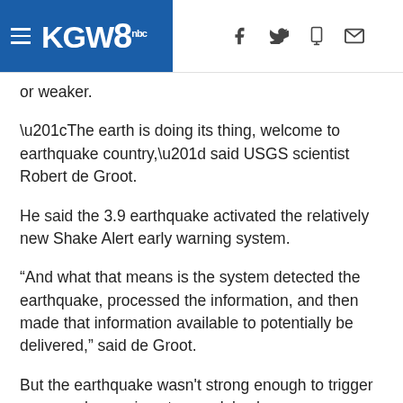KGW8
or weaker.
“The earth is doing its thing, welcome to earthquake country,” said USGS scientist Robert de Groot.
He said the 3.9 earthquake activated the relatively new Shake Alert early warning system.
“And what that means is the system detected the earthquake, processed the information, and then made that information available to potentially be delivered,” said de Groot.
But the earthquake wasn't strong enough to trigger mass early warnings to people's phones or apps. Still, people felt it pretty far away from the epicenter.
"There was some light shaking from this earthquake and one of the people from Government Camp said they felt